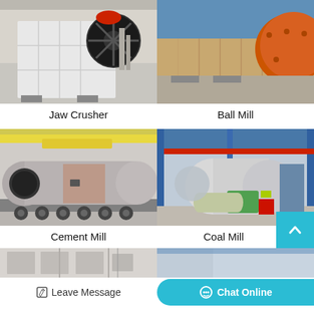[Figure (photo): Jaw Crusher machine - large white industrial crusher with circular flywheel, in a factory setting]
Jaw Crusher
[Figure (photo): Ball Mill - orange/rust colored large cylindrical grinding mill with bolted flanges]
Ball Mill
[Figure (photo): Cement Mill - large grey cylindrical rotary mill on flatbed transport truck]
Cement Mill
[Figure (photo): Coal Mill - large industrial ball mill equipment inside a blue steel factory building]
Coal Mill
[Figure (photo): Partial view of additional industrial equipment at the bottom of the page]
Leave Message
Chat Online